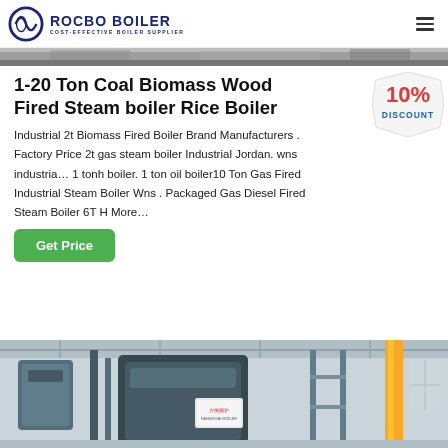[Figure (logo): Rocbo Boiler logo with circular icon and text 'ROCBO BOILER — COST-EFFECTIVE BOILER SUPPLIER']
[Figure (photo): Top strip of a product or factory photo, partially visible]
1-20 Ton Coal Biomass Wood Fired Steam boiler Rice Boiler
Industrial 2t Biomass Fired Boiler Brand Manufacturers . Factory Price 2t gas steam boiler Industrial Jordan. wns industrial 1 tonh boiler. 1 ton oil boiler10 Ton Gas Fired Industrial Steam Boiler Wns . Packaged Gas Diesel Fired Steam Boiler 6T H More…
[Figure (illustration): 10% DISCOUNT badge/sticker in red and blue]
[Figure (photo): Industrial boiler facility interior with large boiler equipment and yellow pipes]